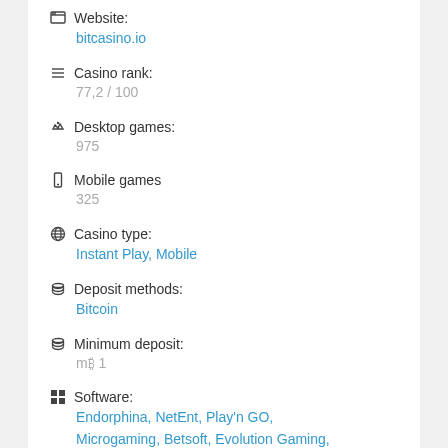Website: bitcasino.io
Casino rank: 77,2 / 100
Desktop games: 975
Mobile games: 325
Casino type: Instant Play, Mobile
Deposit methods: Bitcoin
Minimum deposit: mB 1
Software: Endorphina, NetEnt, Play'n GO, Microgaming, Betsoft, Evolution Gaming, iSoftBet, Ezugi, GameArt, Booming Games, Quickfire, Betgames, Pragmatic Play